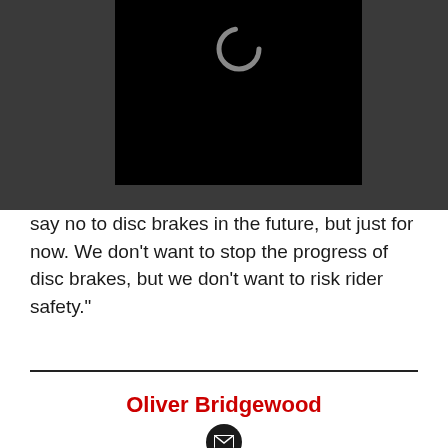[Figure (screenshot): Video player screenshot showing a black video screen with a loading spinner and pause button (II), on a dark gray background. An expand/fullscreen icon is visible at bottom right.]
say no to disc brakes in the future, but just for now. We don't want to stop the progress of disc brakes, but we don't want to risk rider safety."
Oliver Bridgewood
Oliver Bridgewood - no, Doctor Oliver Bridgewood - is a PhD Chemist who